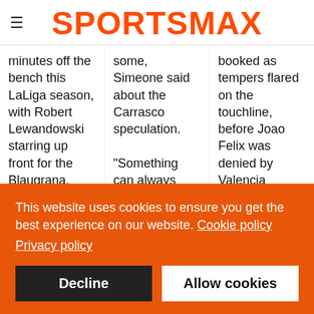≡ SPORTSMAX
minutes off the bench this LaLiga season, with Robert Lewandowski starring up front for the Blaugrana.
ROUND-UP
some, Simeone said about the Carrasco speculation. "Something can always happen that is important for the clubs, we are not the owners
booked as tempers flared on the touchline, before Joao Felix was denied by Valencia goalkeeper Giorgi Mamardashvili. Fernandez was
This website uses cookies to ensure you get the best experience on our website. Cookie policy
Privacy policy
Decline
Allow cookies